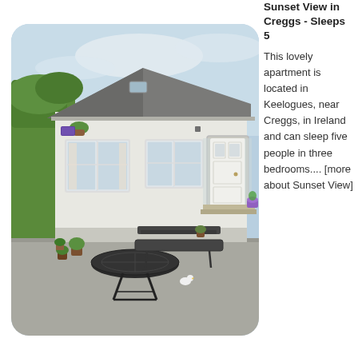[Figure (photo): Exterior photo of a white single-storey cottage/apartment with grey slate roof, white-framed windows, white front door, and a patio area with a black metal table and bench. There is greenery/hedging to the left, potted plants, and a purple flower pot near the doorstep. The image has rounded corners.]
Sunset View in Creggs - Sleeps 5
This lovely apartment is located in Keelogues, near Creggs, in Ireland and can sleep five people in three bedrooms.... [more about Sunset View]